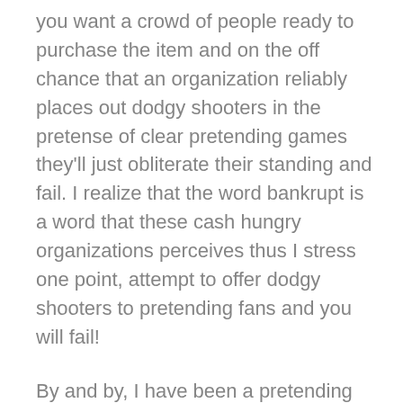you want a crowd of people ready to purchase the item and on the off chance that an organization reliably places out dodgy shooters in the pretense of clear pretending games they'll just obliterate their standing and fail. I realize that the word bankrupt is a word that these cash hungry organizations perceives thus I stress one point, attempt to offer dodgy shooters to pretending fans and you will fail!
By and by, I have been a pretending gamer for around thirty years and I experienced passionate feelings for just two frameworks that I presumably can't name in light of article composing rules. What I can say is